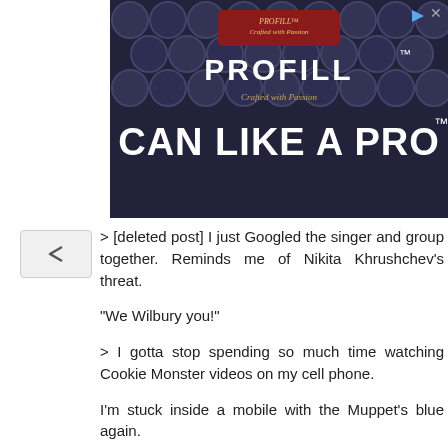[Figure (screenshot): Advertisement banner for PROFILL 'CAN LIKE A PRO' product, dark background with circular can lids pattern]
> [deleted post] I just Googled the singer and group together. Reminds me of Nikita Khrushchev's threat.
"We Wilbury you!"
> I gotta stop spending so much time watching Cookie Monster videos on my cell phone.
I'm stuck inside a mobile with the Muppet's blue again.
> I think there's a connection between Blaine's photo and this week's answer.
Well, it is a boy band of sorts. It's the Jerusalem Quartet. Dylan played a controversial concert in Jerusalem on September 7, 1987.